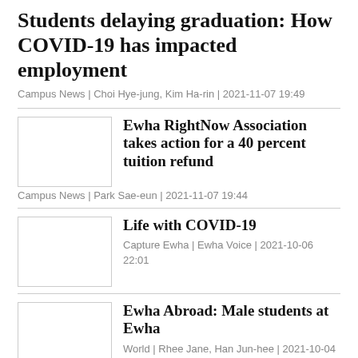Students delaying graduation: How COVID-19 has impacted employment
Campus News | Choi Hye-jung, Kim Ha-rin | 2021-11-07 19:49
Ewha RightNow Association takes action for a 40 percent tuition refund
Campus News | Park Sae-eun | 2021-11-07 19:44
Life with COVID-19
Capture Ewha | Ewha Voice | 2021-10-06 22:01
Ewha Abroad: Male students at Ewha
World | Rhee Jane, Han Jun-hee | 2021-10-04 14:22
American exchange students